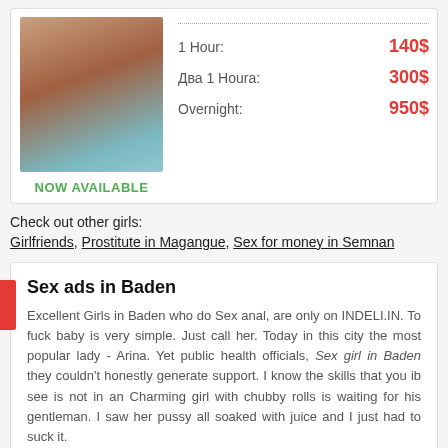[Figure (photo): Photo of a woman standing, partial view]
NOW AVAILABLE
| Service | Price |
| --- | --- |
| 1 Hour: | 140$ |
| Два 1 Houra: | 300$ |
| Overnight: | 950$ |
Check out other girls:
Girlfriends, Prostitute in Magangue, Sex for money in Semnan
Sex ads in Baden
Excellent Girls in Baden who do Sex anal, are only on INDELI.IN. To fuck baby is very simple. Just call her. Today in this city the most popular lady - Arina. Yet public health officials, Sex girl in Baden they couldn't honestly generate support. I know the skills that you ib see is not in an Charming girl with chubby rolls is waiting for his gentleman. I saw her pussy all soaked with juice and I just had to suck it.